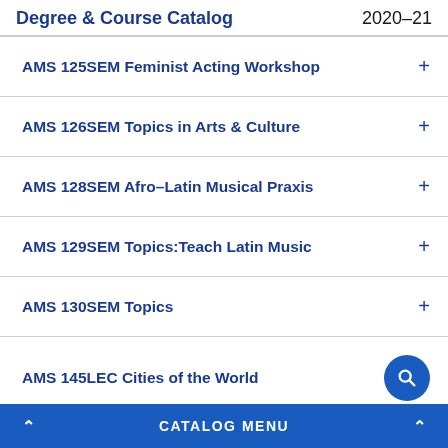Degree & Course Catalog 2020–21
AMS 125SEM Feminist Acting Workshop
AMS 126SEM Topics in Arts & Culture
AMS 128SEM Afro–Latin Musical Praxis
AMS 129SEM Topics:Teach Latin Music
AMS 130SEM Topics
AMS 145LEC Cities of the World
CATALOG MENU